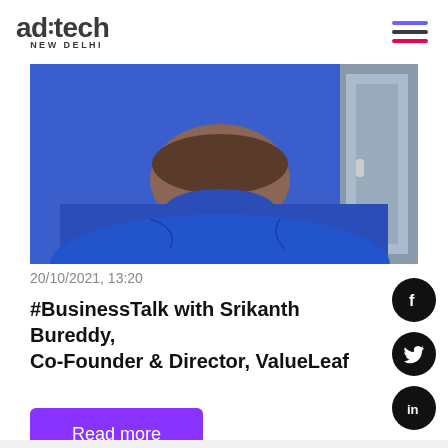ad:tech NEW DELHI
[Figure (photo): Close-up photo of a man wearing a blue t-shirt, cropped showing chest and lower face/beard]
20/10/2021, 13:20
#BusinessTalk with Srikanth Bureddy, Co-Founder & Director, ValueLeaf
Read more